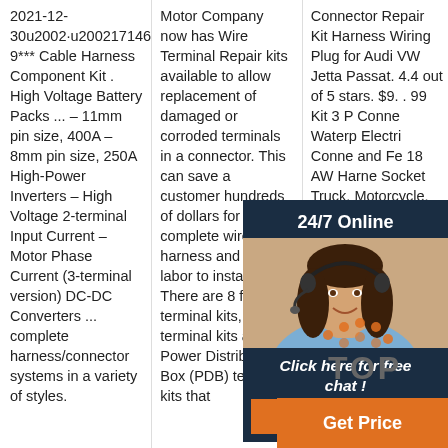2021-12-30u2002·u2002171466-9*** Cable Harness Component Kit . High Voltage Battery Packs ... – 11mm pin size, 400A – 8mm pin size, 250A High-Power Inverters – High Voltage 2-terminal Input Current – Motor Phase Current (3-terminal version) DC-DC Converters ... complete harness/connector systems in a variety of styles.
Motor Company now has Wire Terminal Repair kits available to allow replacement of damaged or corroded terminals in a connector. This can save a customer hundreds of dollars for a complete wire harness and the labor to install it. There are 8 female terminal kits, 6 male terminal kits and 3 Power Distribution Box (PDB) terminal kits that
Connector Repair Kit Harness Wiring Plug for Audi VW Jetta Passat. 4.4 out of 5 stars. $9. . 99 Kit 3 P Conne Waterp Electri Conne and Fe 18 AW Harne Socket Truck, Motorcycle, Boat and Other Wire Connection.
[Figure (infographic): Chat widget overlay with dark navy background showing '24/7 Online' header, photo of a woman with headset, 'Click here for free chat!' text, and an orange QUOTATION button]
[Figure (infographic): TOP navigation button with orange dot pattern and grey TOP label, plus an orange Get Price button]